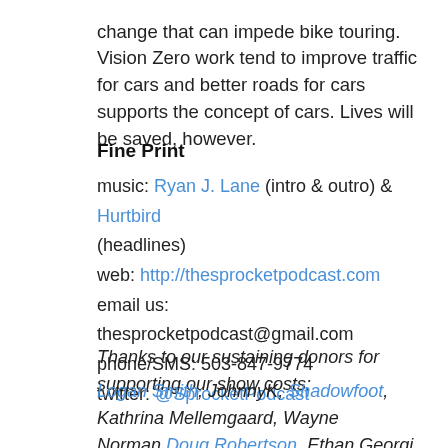change that can impede bike touring. Vision Zero work tend to improve traffic for cars and better roads for cars supports the concept of cars. Lives will be saved, however.
Fine Print
music: Ryan J. Lane (intro & outro) & Hurtbird (headlines)
web: http://thesprocketpodcast.com
email us: thesprocketpodcast@gmail.com
phone/SMS: 503-847-9774
twitter: @SprocketPodcast
Thanks to our sustaining donors for supporting our show costs:
Logan Smith, JohnnyK, Shadowfoot, Kathrina Mellemgaard, Wayne Norman, Doug Robertson, Ethan Georgi, Justin Martin, Eric Iverson, Cameron Lien, Richard Wezensky, Tim Mooney, Orange & Purple, Glenn Kubish, Matt Kelly, Jim...